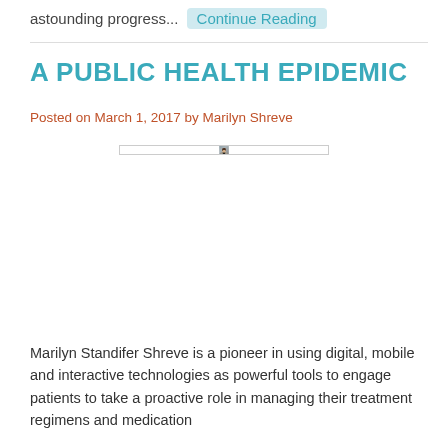astounding progress...  Continue Reading
A PUBLIC HEALTH EPIDEMIC
Posted on March 1, 2017 by Marilyn Shreve
[Figure (photo): Portrait photo of Marilyn Shreve, a woman with brown hair pulled back, wearing a grey blazer over a black turtleneck, smiling slightly against a grey background.]
Marilyn Standifer Shreve is a pioneer in using digital, mobile and interactive technologies as powerful tools to engage patients to take a proactive role in managing their treatment regimens and medication